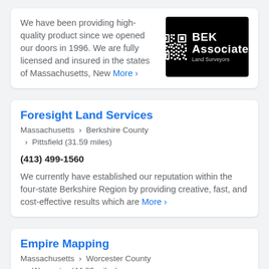We have been providing high-quality product since we opened our doors in 1996. We are fully licensed and insured in the states of Massachusetts, New More ›
[Figure (logo): BEK Associates Land Surveyors logo on black background with QR code]
Foresight Land Services
Massachusetts › Berkshire County › Pittsfield (31.59 miles)
(413) 499-1560
We currently have established our reputation within the four-state Berkshire Region by providing creative, fast, and cost-effective results which are More ›
Empire Mapping
Massachusetts › Worcester County › Worcester (44.82 miles)